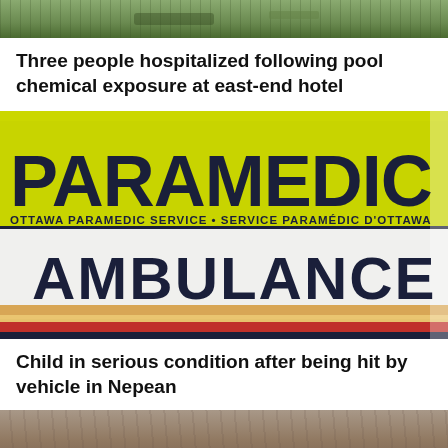[Figure (photo): Partial top image, appears to be an outdoor scene with greenery, cropped at top of page]
Three people hospitalized following pool chemical exposure at east-end hotel
[Figure (photo): Close-up photograph of an Ottawa Paramedic Service ambulance side panel showing PARAMEDIC in large yellow/black text, OTTAWA PARAMEDIC SERVICE • SERVICE PARAMÉDIC D'OTTAWA subtitle, and AMBULANCE in large dark letters on white background with colored stripe]
Child in serious condition after being hit by vehicle in Nepean
[Figure (photo): Partial bottom image, appears to be an outdoor ground scene, cropped at bottom of page]